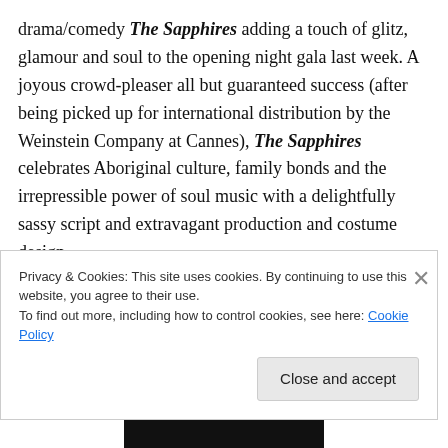drama/comedy The Sapphires adding a touch of glitz, glamour and soul to the opening night gala last week. A joyous crowd-pleaser all but guaranteed success (after being picked up for international distribution by the Weinstein Company at Cannes), The Sapphires celebrates Aboriginal culture, family bonds and the irrepressible power of soul music with a delightfully sassy script and extravagant production and costume design.

There are dozens of Australian feature films playing at MIFF this year, from introspective dramas to psychotic
Privacy & Cookies: This site uses cookies. By continuing to use this website, you agree to their use.
To find out more, including how to control cookies, see here: Cookie Policy

Close and accept